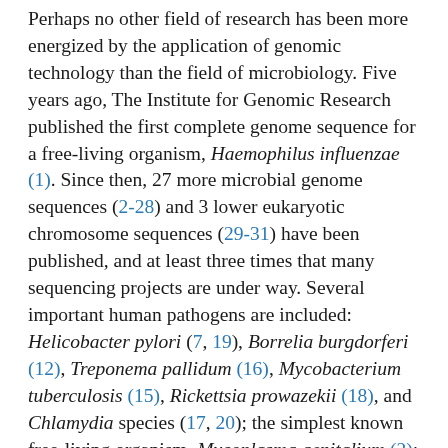Perhaps no other field of research has been more energized by the application of genomic technology than the field of microbiology. Five years ago, The Institute for Genomic Research published the first complete genome sequence for a free-living organism, Haemophilus influenzae (1). Since then, 27 more microbial genome sequences (2-28) and 3 lower eukaryotic chromosome sequences (29-31) have been published, and at least three times that many sequencing projects are under way. Several important human pathogens are included: Helicobacter pylori (7, 19), Borrelia burgdorferi (12), Treponema pallidum (16), Mycobacterium tuberculosis (15), Rickettsia prowazekii (18), and Chlamydia species (17, 20); the simplest known free-living organism, Mycoplasma genitalium (2); the model organisms, Escherichia coli (8) and Bacillus subtilis (10); Aquifex aeolicus (13) and Thermotoga